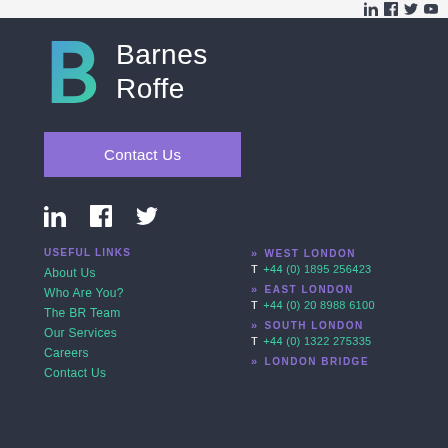Barnes Roffe - social icons header bar
[Figure (logo): Barnes Roffe logo with teal/green gradient B icon and white Barnes Roffe text]
Contact Us
[Figure (illustration): Social media icons: LinkedIn, Facebook, Twitter]
USEFUL LINKS
About Us
Who Are You?
The BR Team
Our Services
Careers
Contact Us
WEST LONDON
T +44 (0) 1895 256423
EAST LONDON
T +44 (0) 20 8988 6100
SOUTH LONDON
T +44 (0) 1322 275335
LONDON BRIDGE